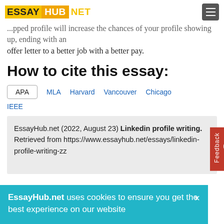ESSAY HUB NET
...a well-equipped profile will increase the chances of your profile showing up, ending with an offer letter to a better job with a better pay.
How to cite this essay:
APA | MLA | Harvard | Vancouver | Chicago
IEEE
EssayHub.net (2022, August 23) Linkedin profile writing. Retrieved from https://www.essayhub.net/essays/linkedin-profile-writing-zz
EssayHub.net uses cookies to ensure you get the best experience on our website